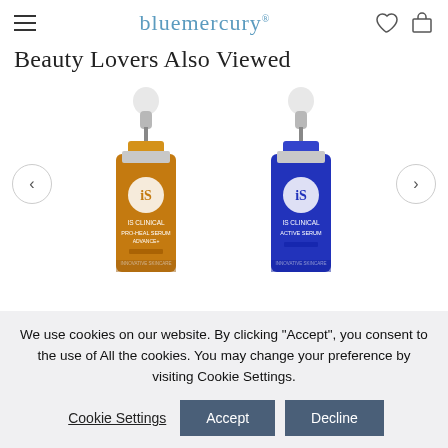bluemercury
Beauty Lovers Also Viewed
[Figure (photo): Two iS Clinical serum bottles with dropper tops on a white background. Left bottle is amber/orange colored (Pro-Heal Serum Advance+), right bottle is cobalt blue (Active Serum). Navigation arrows on left and right sides of carousel.]
We use cookies on our website. By clicking "Accept", you consent to the use of All the cookies. You may change your preference by visiting Cookie Settings.